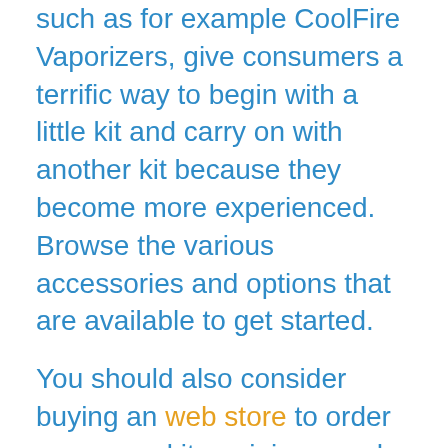such as for example CoolFire Vaporizers, give consumers a terrific way to begin with a little kit and carry on with another kit because they become more experienced. Browse the various accessories and options that are available to get started.
You should also consider buying an web store to order your vape kits, e-juices, and nicotine-free e-cigarette kits. Having a well-designed website, you can purchase several products at the same time and get the very best price and product selection. This can be a excellent spot to take advantage of on the web coupon codes furthermore.
Experience the convenience and savings that type of product offers. Vaping e-cigs, vaporizers, and nicotine-free e-cigarettes allows you to experience the exact same instant nicotine hurry that smokers get. You don't need to wait for hours to feel the nicotine rush as you would in a